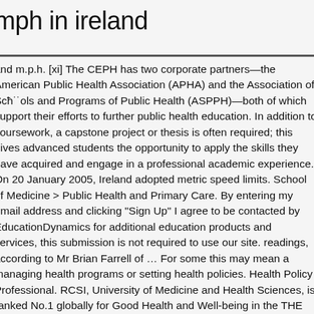mph in ireland
and m.p.h. [xi] The CEPH has two corporate partners—the American Public Health Association (APHA) and the Association of Schools and Programs of Public Health (ASPPH)—both of which support their efforts to further public health education. In addition to coursework, a capstone project or thesis is often required; this gives advanced students the opportunity to apply the skills they have acquired and engage in a professional academic experience. On 20 January 2005, Ireland adopted metric speed limits. School of Medicine > Public Health and Primary Care. By entering my email address and clicking "Sign Up" I agree to be contacted by EducationDynamics for additional education products and services, this submission is not required to use our site. readings, according to Mr Brian Farrell of … For some this may mean a managing health programs or setting health policies. Health Policy Professional. RCSI, University of Medicine and Health Sciences, is ranked No.1 globally for Good Health and Well-being in the THE University Impact Rankings 2020. As you probably already know, effective public health programming takes into consideration the prevalence of different diseases and illnesses, risk factors that are present within different aspects and groups in … 1 decade ago. The